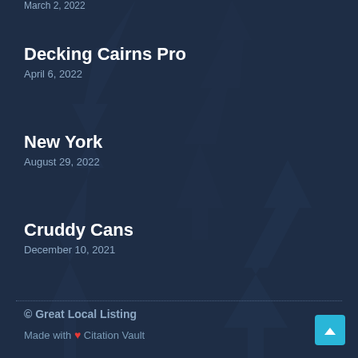March 2, 2022
Decking Cairns Pro
April 6, 2022
New York
August 29, 2022
Cruddy Cans
December 10, 2021
© Great Local Listing
Made with ❤ Citation Vault